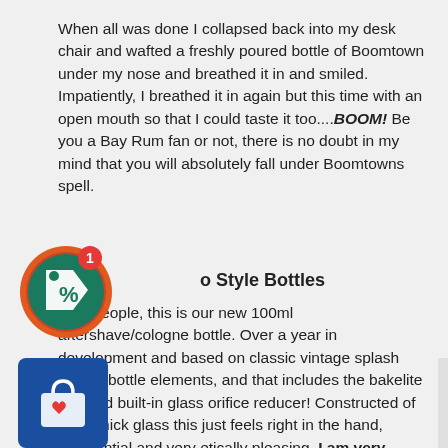When all was done I collapsed back into my desk chair and wafted a freshly poured bottle of Boomtown under my nose and breathed it in and smiled. Impatiently, I breathed it in again but this time with an open mouth so that I could taste it too....BOOM! Be you a Bay Rum fan or not, there is no doubt in my mind that you will absolutely fall under Boomtowns spell.
o Style Bottles
right people, this is our new 100ml aftershave/cologne bottle. Over a year in development and based on classic vintage splash design bottle elements, and that includes the bakelite cap and built-in glass orifice reducer! Constructed of extra thick glass this just feels right in the hand, substantial and very etically pleasing. I am very proud to finally get these bad boys out there!
[Figure (illustration): A circular green coupon/discount tag icon with a percent sign and a red notification badge showing '1']
[Figure (illustration): A blue shopping bag with heart icon button]